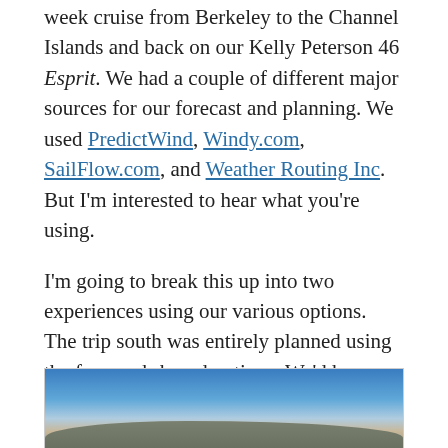week cruise from Berkeley to the Channel Islands and back on our Kelly Peterson 46 Esprit. We had a couple of different major sources for our forecast and planning. We used PredictWind, Windy.com, SailFlow.com, and Weather Routing Inc. But I'm interested to hear what you're using.
I'm going to break this up into two experiences using our various options. The trip south was entirely planned using the free, web-based options. We'd have no access to data once offshore.
[Figure (photo): Photograph of a calm ocean scene with blue sky and a low island or landmass on the horizon]